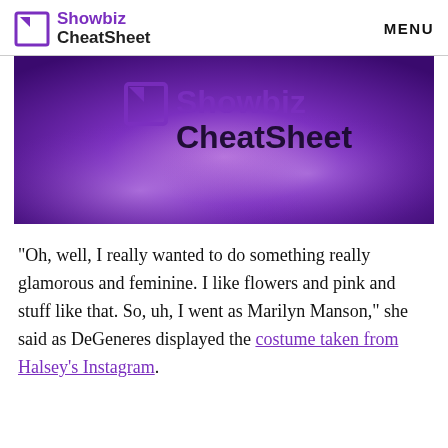Showbiz CheatSheet  MENU
[Figure (logo): Showbiz CheatSheet logo on purple background banner]
“Oh, well, I really wanted to do something really glamorous and feminine. I like flowers and pink and stuff like that. So, uh, I went as Marilyn Manson,” she said as DeGeneres displayed the costume taken from Halsey’s Instagram.